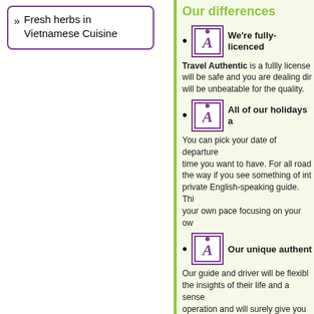Fresh herbs in Vietnamese Cuisine
Our differences
We're fully-licenced
Travel Authentic is a fullly licensed… will be safe and you are dealing dir… will be unbeatable for the quality.
All of our holidays a…
You can pick your date of departure… time you want to have. For all road… the way if you see something of int… private English-speaking guide. Thi… your own pace focusing on your ow…
Our unique authent…
Our guide and driver will be flexibl… the insights of their life and a sense… operation and will surely give you m…